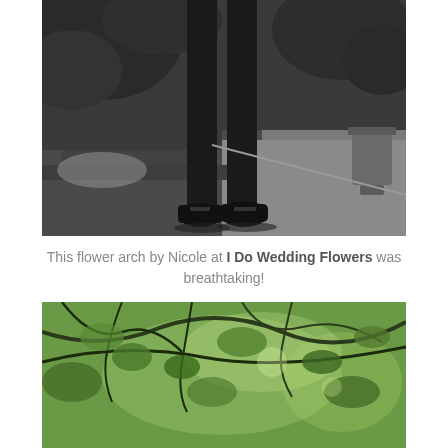[Figure (photo): Black and white photograph showing the lower half of a person in a dark suit standing on a sidewalk/pathway, wearing black dress shoes. Green foliage and bushes are visible in the background, along with a large pot/urn on the right side.]
This flower arch by Nicole at I Do Wedding Flowers was breathtaking!
[Figure (photo): Color photograph showing lush green tree branches and foliage, with light filtering through the leaves, suggesting an outdoor garden or ceremony arch setting.]